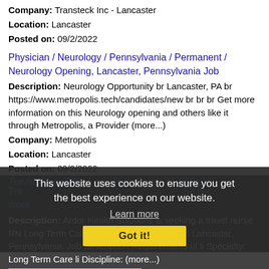Company: Transteck Inc - Lancaster
Location: Lancaster
Posted on: 09/2/2022
Physician / Neurology / Pennsylvania / Permanent / Neurology Opening, Lancaster, Pennsylvania Job
Description: Neurology Opportunity br Lancaster, PA br https://www.metropolis.tech/candidates/new br br br Get more information on this Neurology opening and others like it through Metropolis, a Provider (more...)
Company: Metropolis
Location: Lancaster
Posted on: 09/2/2022
Travel Nurse RN - Long Term Care - $1,658 per week
Description: Ardor Health Solutions is seeking a travel nurse RN Long Term Care for a travel nursing job in Lancaster, Pennsylvania. Job Description Requirements ul li Specialty: Long Term Care li Discipline: (more...)
Company: Ardor Health Solutions
Location: Lancaster
Posted on: 09/2/2022
This website uses cookies to ensure you get the best experience on our website. Learn more Got it!